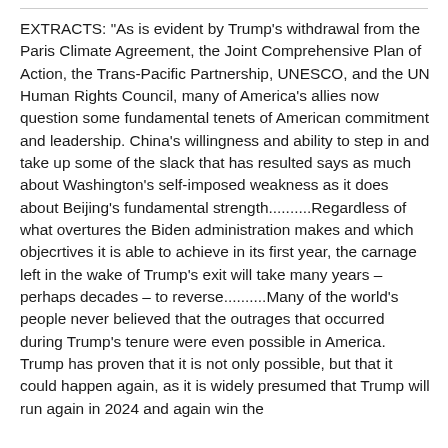EXTRACTS: "As is evident by Trump's withdrawal from the Paris Climate Agreement, the Joint Comprehensive Plan of Action, the Trans-Pacific Partnership, UNESCO, and the UN Human Rights Council, many of America's allies now question some fundamental tenets of American commitment and leadership. China's willingness and ability to step in and take up some of the slack that has resulted says as much about Washington's self-imposed weakness as it does about Beijing's fundamental strength..........Regardless of what overtures the Biden administration makes and which objecrtives it is able to achieve in its first year, the carnage left in the wake of Trump's exit will take many years – perhaps decades – to reverse..........Many of the world's people never believed that the outrages that occurred during Trump's tenure were even possible in America. Trump has proven that it is not only possible, but that it could happen again, as it is widely presumed that Trump will run again in 2024 and again win the